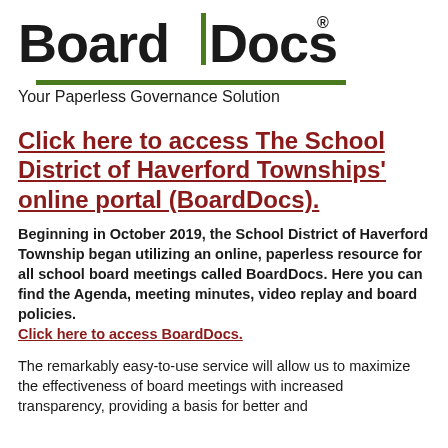[Figure (logo): BoardDocs logo with green tree/bar divider and green underline, text 'BoardDocs' in bold black with registered trademark symbol]
Your Paperless Governance Solution
Click here to access The School District of Haverford Townships' online portal (BoardDocs).
Beginning in October 2019, the School District of Haverford Township began utilizing an online, paperless resource for all school board meetings called BoardDocs. Here you can find the Agenda, meeting minutes, video replay and board policies.
Click here to access BoardDocs.
The remarkably easy-to-use service will allow us to maximize the effectiveness of board meetings with increased transparency, providing a basis for better and